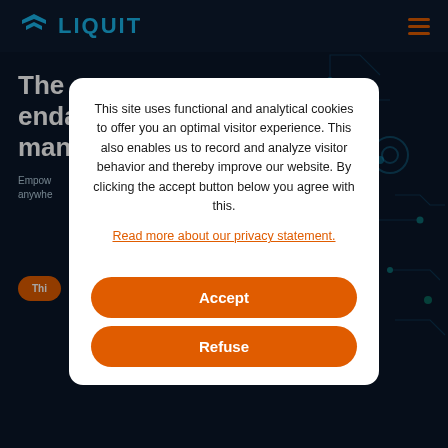LIQUIT
The end ma
Empow anywhe
Thi
This site uses functional and analytical cookies to offer you an optimal visitor experience. This also enables us to record and analyze visitor behavior and thereby improve our website. By clicking the accept button below you agree with this.
Read more about our privacy statement.
Accept
Refuse